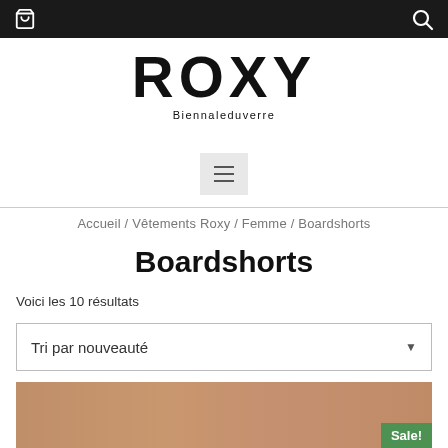ROXY Biennaleduverre — navigation bar with cart and search icons
ROXY
Biennaleduverre
[Figure (other): Hamburger menu button (three horizontal lines) on light grey square background]
Accueil / Vêtements Roxy / Femme / Boardshorts
Boardshorts
Voici les 10 résultats
Tri par nouveauté
[Figure (photo): Partial photo of person's midsection/torso with a 'Sale!' green badge in the bottom right corner]